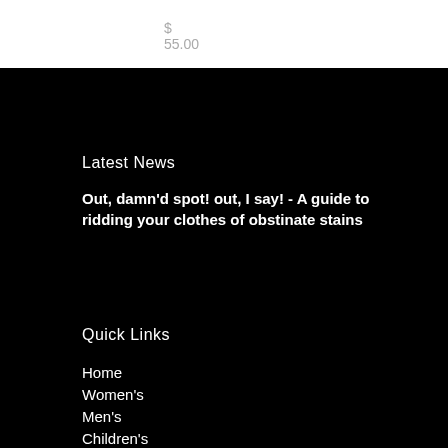$ 55.00
Latest News
Out, damn'd spot! out, I say! - A guide to ridding your clothes of obstinate stains
Quick Links
Home
Women's
Men's
Children's
Featured
About Us
Contact Us